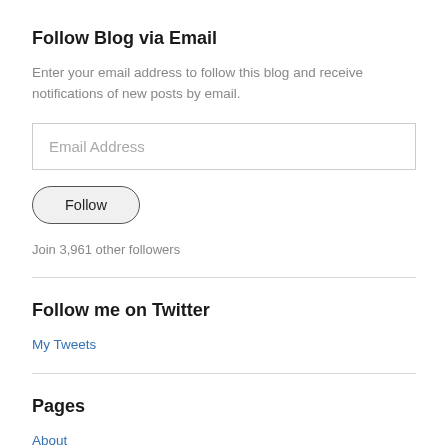Follow Blog via Email
Enter your email address to follow this blog and receive notifications of new posts by email.
Email Address
Follow
Join 3,961 other followers
Follow me on Twitter
My Tweets
Pages
About